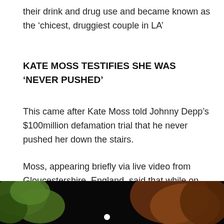their drink and drug use and became known as the ‘chicest, druggiest couple in LA’
KATE MOSS TESTIFIES SHE WAS ‘NEVER PUSHED’
This came after Kate Moss told Johnny Depp’s $100million defamation trial that he never pushed her down the stairs.
Moss, appearing briefly via live video from Gloucestershire, England, said that while on vacation in Jamaica she slipped and Depp came to her aid.
[Figure (photo): Dark photo showing green foliage on the left and an auburn-haired figure on a dark background, with a white circular light element visible near the center bottom.]